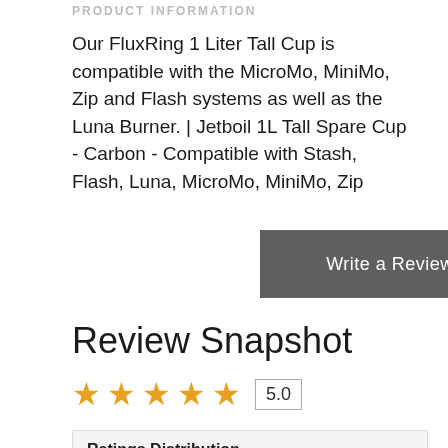PRODUCT INFORMATION
Our FluxRing 1 Liter Tall Cup is compatible with the MicroMo, MiniMo, Zip and Flash systems as well as the Luna Burner. | Jetboil 1L Tall Spare Cup - Carbon - Compatible with Stash, Flash, Luna, MicroMo, MiniMo, Zip
Write a Review
Review Snapshot
[Figure (other): Five gold star rating icons followed by a score box showing 5.0]
Ratings Distribution